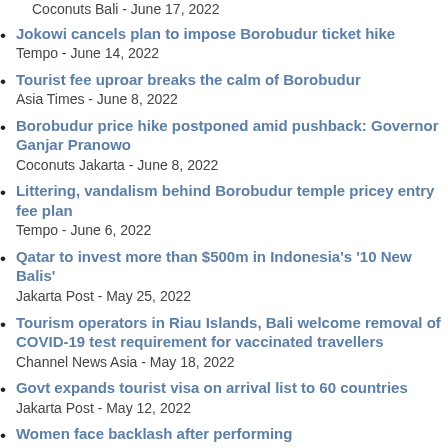Coconuts Bali - June 17, 2022
Jokowi cancels plan to impose Borobudur ticket hike
Tempo - June 14, 2022
Tourist fee uproar breaks the calm of Borobudur
Asia Times - June 8, 2022
Borobudur price hike postponed amid pushback: Governor Ganjar Pranowo
Coconuts Jakarta - June 8, 2022
Littering, vandalism behind Borobudur temple pricey entry fee plan
Tempo - June 6, 2022
Qatar to invest more than $500m in Indonesia's '10 New Balis'
Jakarta Post - May 25, 2022
Tourism operators in Riau Islands, Bali welcome removal of COVID-19 test requirement for vaccinated travellers
Channel News Asia - May 18, 2022
Govt expands tourist visa on arrival list to 60 countries
Jakarta Post - May 12, 2022
Women face backlash after performing